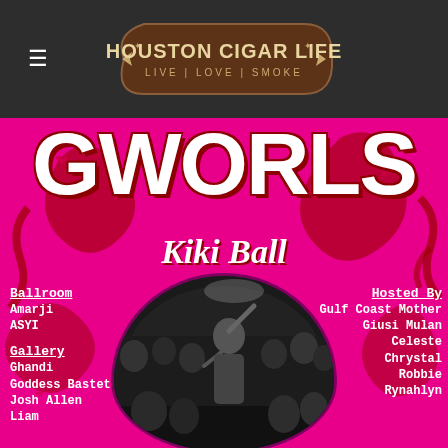Houston Cigar Life — Live | Love | Smoke
[Figure (photo): GWORLS Kiki Ball event flyer on magenta/pink background with decorative red scrollwork, large white GWORLS text, Kiki Ball subtitle, circular black-and-white crowd photo in center, and event personnel listed on left (Ballroom: Amarji, ASYI; Gallery: Ghandi, Goddess Bastet, Josh Allen, Liam) and right (Hosted By: Gulf Coast Mother, Giusi Mulan, Celeste, Chrystal, Robbie, Rynahlyn)]